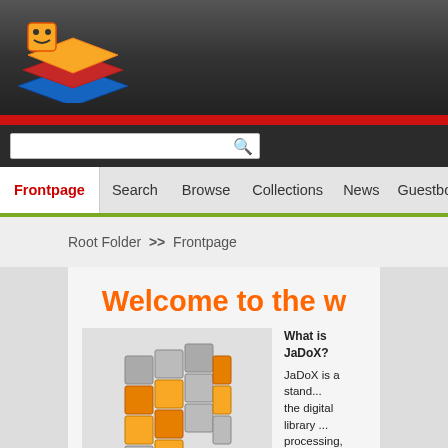[Figure (logo): JaDoX layered diamond/cube logo with yellow, red, and blue layers on dark background header]
Frontpage  Search  Browse  Collections  News  Guestbo...
Root Folder  >>  Frontpage
Welcome to the w
[Figure (illustration): 3D Rubik's cube style illustration with orange, yellow, and grey colored blocks]
What is JaDoX?
JaDoX is a stand... the digital library ... processing, stora... fully complies wit...
Components and
The software com... (PostgreSQL, RD...